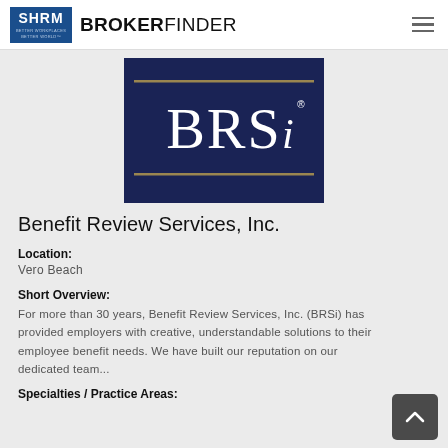SHRM BROKERFINDER
[Figure (logo): BRSi logo — dark navy blue rectangular background with gold horizontal rules above and below, white serif letters 'BRSi' with registered trademark symbol]
Benefit Review Services, Inc.
Location:
Vero Beach
Short Overview:
For more than 30 years, Benefit Review Services, Inc. (BRSi) has provided employers with creative, understandable solutions to their employee benefit needs. We have built our reputation on our dedicated team...
Specialties / Practice Areas: